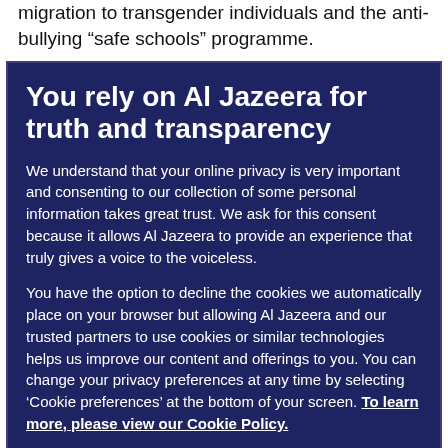migration to transgender individuals and the anti-bullying “safe schools” programme.
You rely on Al Jazeera for truth and transparency
We understand that your online privacy is very important and consenting to our collection of some personal information takes great trust. We ask for this consent because it allows Al Jazeera to provide an experience that truly gives a voice to the voiceless.
You have the option to decline the cookies we automatically place on your browser but allowing Al Jazeera and our trusted partners to use cookies or similar technologies helps us improve our content and offerings to you. You can change your privacy preferences at any time by selecting ‘Cookie preferences’ at the bottom of your screen. To learn more, please view our Cookie Policy.